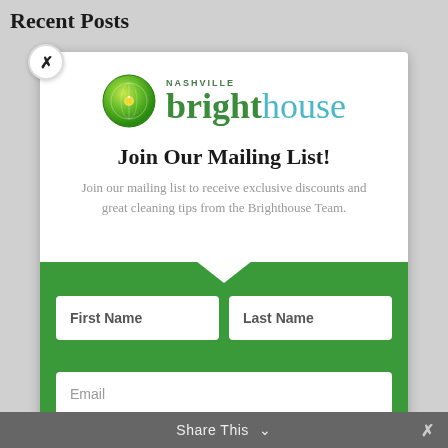Recent Posts
[Figure (logo): Nashville Brighthouse logo with green lime/citrus icon and stylized text]
Join Our Mailing List!
Join our mailing list to receive exclusive discounts and great cleaning tips from the Brighthouse Team.
[Figure (screenshot): Mailing list sign-up form with First Name, Last Name, and Email fields on green background]
Share This ∨  ×